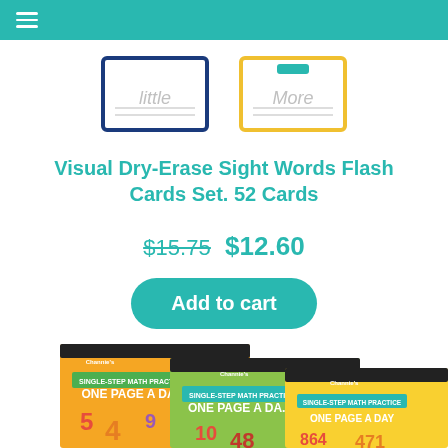≡
[Figure (photo): Two dry-erase flash cards: one blue-bordered card showing the word 'little' and one yellow-bordered card showing the word 'More', both with handwriting practice lines]
Visual Dry-Erase Sight Words Flash Cards Set. 52 Cards
$15.75  $12.60
Add to cart
[Figure (photo): Three overlapping Channie's ONE PAGE A DAY Single-Step Math Practice workbooks in orange, green, and yellow/teal covers showing numbers and math symbols]